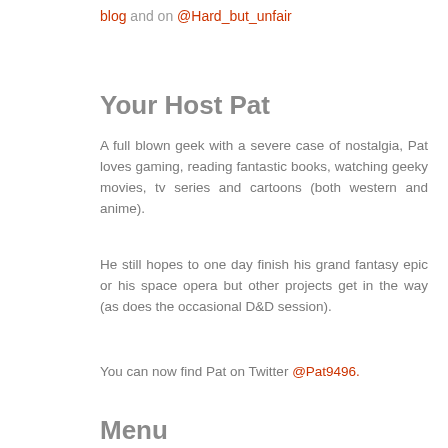blog and on @Hard_but_unfair
Your Host Pat
A full blown geek with a severe case of nostalgia, Pat loves gaming, reading fantastic books, watching geeky movies, tv series and cartoons (both western and anime).
He still hopes to one day finish his grand fantasy epic or his space opera but other projects get in the way (as does the occasional D&D session).
You can now find Pat on Twitter @Pat9496.
Menu